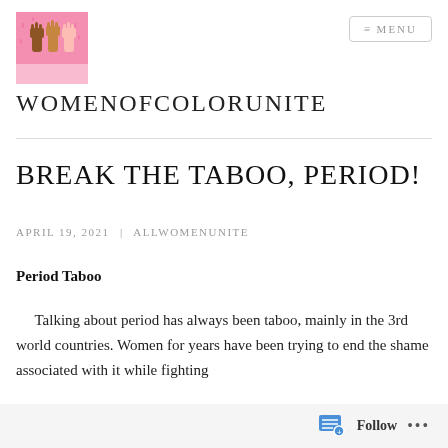[Figure (logo): Women of Color Unite logo: pink background with raised fists and female symbols]
WOMENOFCOLORUNITE
BREAK THE TABOO, PERIOD!
APRIL 19, 2021 | ALLWOMENUNITE
Period Taboo
Talking about period has always been taboo, mainly in the 3rd world countries. Women for years have been trying to end the shame associated with it while fighting